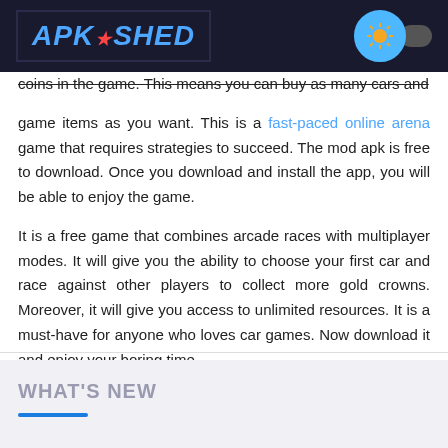APK SHED
coins in the game. This means you can buy as many cars and game items as you want. This is a fast-paced online arena game that requires strategies to succeed. The mod apk is free to download. Once you download and install the app, you will be able to enjoy the game.
It is a free game that combines arcade races with multiplayer modes. It will give you the ability to choose your first car and race against other players to collect more gold crowns. Moreover, it will give you access to unlimited resources. It is a must-have for anyone who loves car games. Now download it and enjoy your boring time.
WHAT'S NEW